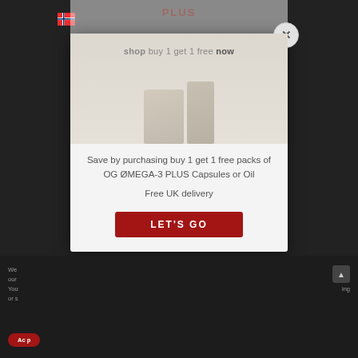[Figure (screenshot): Website screenshot with a popup modal overlay. The modal contains a product promotional image showing supplement bottles with text 'shop buy 1 get 1 free now', followed by text about buying OG OMEGA-3 PLUS Capsules or Oil, free UK delivery, and a red CTA button saying LET'S GO. A close (X) button appears in the top-right corner of the modal. The page background is dark with partial site content visible.]